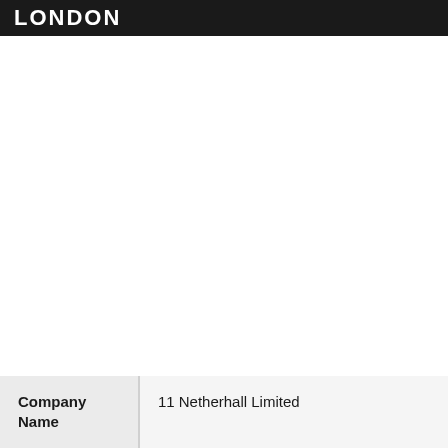LONDON
| Company Name |  |
| --- | --- |
| Company Name | 11 Netherhall Limited |